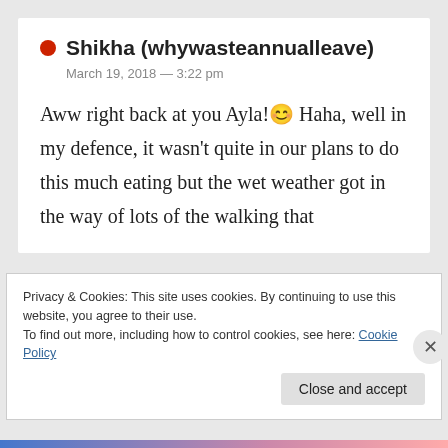Shikha (whywasteannualleave)
March 19, 2018 — 3:22 pm
Aww right back at you Ayla!😊 Haha, well in my defence, it wasn't quite in our plans to do this much eating but the wet weather got in the way of lots of the walking that
Privacy & Cookies: This site uses cookies. By continuing to use this website, you agree to their use.
To find out more, including how to control cookies, see here: Cookie Policy
Close and accept